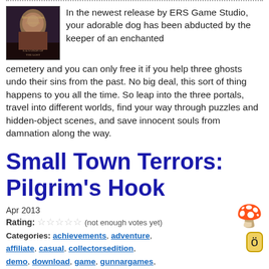[Figure (illustration): Game cover art for a dark cemetery/gothic game by ERS Game Studio]
In the newest release by ERS Game Studio, your adorable dog has been abducted by the keeper of an enchanted cemetery and you can only free it if you help three ghosts undo their sins from the past. No big deal, this sort of thing happens to you all the time. So leap into the three portals, travel into different worlds, find your way through puzzles and hidden-object scenes, and save innocent souls from damnation along the way.
Small Town Terrors: Pilgrim's Hook
Apr 2013
Rating: (not enough votes yet)
Categories: achievements, adventure, affiliate, casual, collectorsedition, demo, download, game, gunnargames, hiddenobject, horror, mac, mystery, pointandclick, rating-y, windows
[Figure (illustration): Game cover art for Small Town Terrors Pilgrim's Hook]
Vera and Arthur are twins who both grew up in and eventually left the small